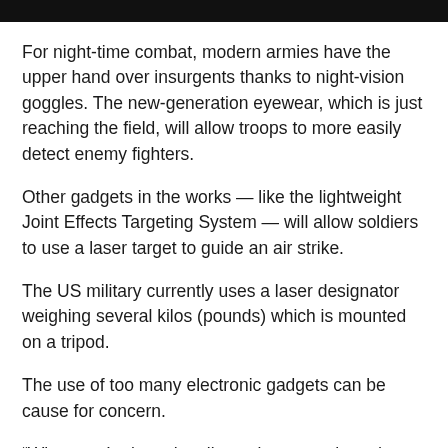For night-time combat, modern armies have the upper hand over insurgents thanks to night-vision goggles. The new-generation eyewear, which is just reaching the field, will allow troops to more easily detect enemy fighters.
Other gadgets in the works — like the lightweight Joint Effects Targeting System — will allow soldiers to use a laser target to guide an air strike.
The US military currently uses a laser designator weighing several kilos (pounds) which is mounted on a tripod.
The use of too many electronic gadgets can be cause for concern.
“When you’re in an hostile environment, how do you